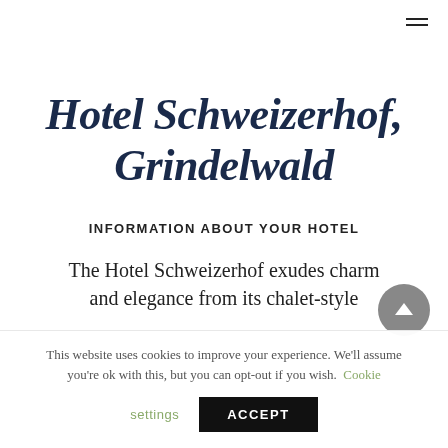Hotel Schweizerhof, Grindelwald
INFORMATION ABOUT YOUR HOTEL
The Hotel Schweizerhof exudes charm and elegance from its chalet-style
This website uses cookies to improve your experience. We'll assume you're ok with this, but you can opt-out if you wish. Cookie settings ACCEPT